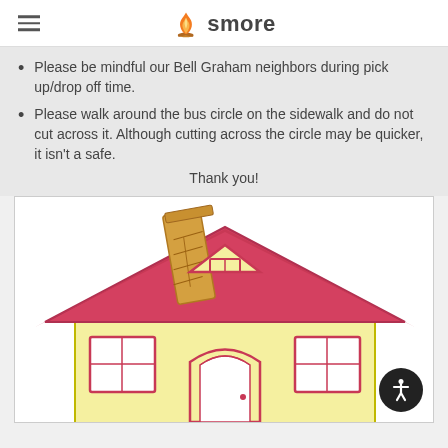smore
Please be mindful our Bell Graham neighbors during pick up/drop off time.
Please walk around the bus circle on the sidewalk and do not cut across it. Although cutting across the circle may be quicker, it isn't a safe.
Thank you!
[Figure (illustration): Cartoon illustration of a house with a red roof, yellow walls, chimney, triangular attic window, arched front door, and windows.]